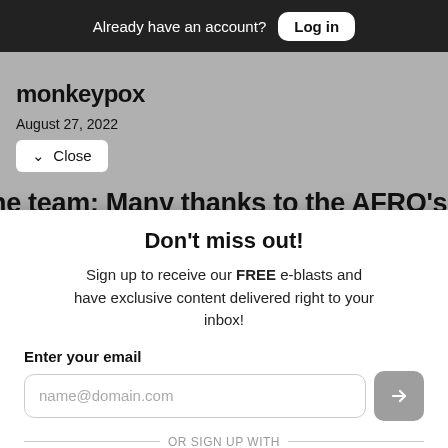Already have an account? Log in
monkeypox
August 27, 2022
Close
he team: Many thanks to the AFRO's
Don't miss out!
Sign up to receive our FREE e-blasts and have exclusive content delivered right to your inbox!
Enter your email
name@domain.com
OR SIGN UP WITH